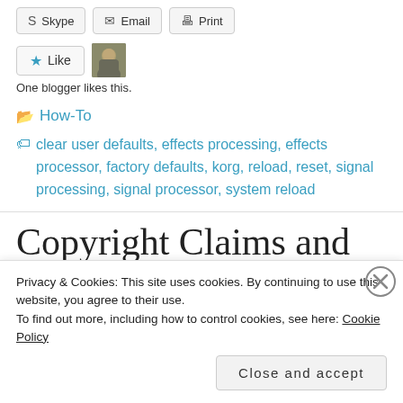Skype  Email  Print
Like  [avatar]
One blogger likes this.
How-To
clear user defaults, effects processing, effects processor, factory defaults, korg, reload, reset, signal processing, signal processor, system reload
Copyright Claims and
Privacy & Cookies: This site uses cookies. By continuing to use this website, you agree to their use.
To find out more, including how to control cookies, see here: Cookie Policy
Close and accept